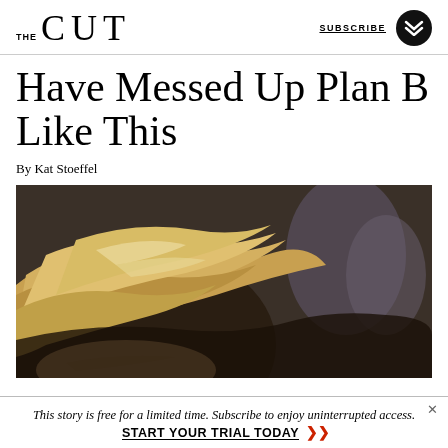THE CUT  SUBSCRIBE
Have Messed Up Plan B Like This
By Kat Stoeffel
[Figure (photo): Close-up photo of a blonde woman's head, face partially visible from forehead down, dark blurred background with figures]
This story is free for a limited time. Subscribe to enjoy uninterrupted access. START YOUR TRIAL TODAY »